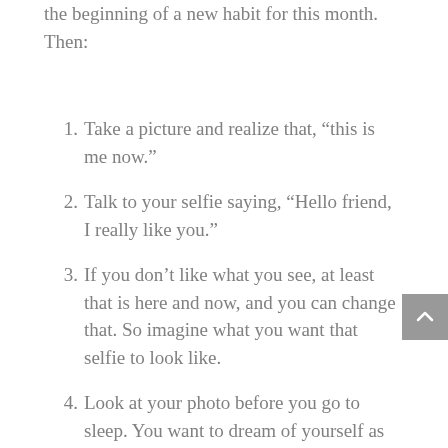the beginning of a new habit for this month. Then:
1. Take a picture and realize that, “this is me now.”
2. Talk to your selfie saying, “Hello friend, I really like you.”
3. If you don’t like what you see, at least that is here and now, and you can change that. So imagine what you want that selfie to look like.
4. Look at your photo before you go to sleep. You want to dream of yourself as you are, or want to be.
5. If you wake up, and recall having dreamed of